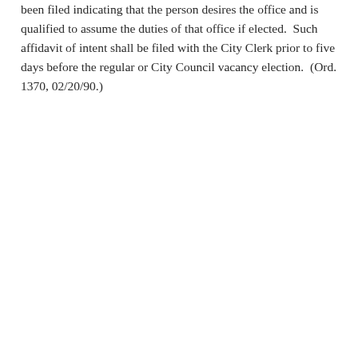been filed indicating that the person desires the office and is qualified to assume the duties of that office if elected.  Such affidavit of intent shall be filed with the City Clerk prior to five days before the regular or City Council vacancy election.  (Ord. 1370, 02/20/90.)